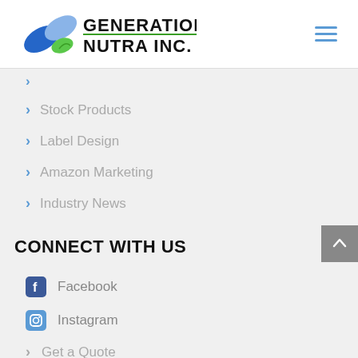[Figure (logo): Generation Nutra Inc. logo with blue and green pill capsule and leaf graphic, black bold text]
Stock Products
Label Design
Amazon Marketing
Industry News
CONNECT WITH US
Facebook
Instagram
Get a Quote